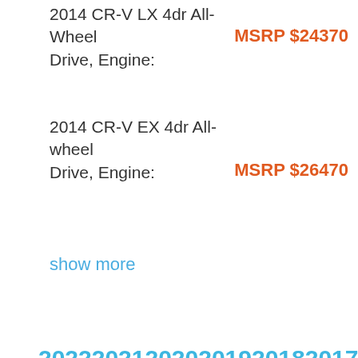2014 CR-V LX 4dr All-Wheel Drive, Engine:
MSRP $24370
2014 CR-V EX 4dr All-wheel Drive, Engine:
MSRP $26470
show more
2022 2021 2020 2019 2018 2017 2016 2015
2014 2013 2012 2011 2010 2009 2008 2007
2006 2005 2004 2003 2002 2001 2000 1999